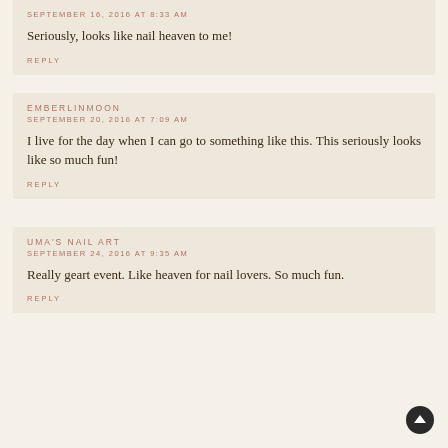SEPTEMBER 16, 2016 AT 8:33 AM
Seriously, looks like nail heaven to me!
REPLY
EMBERLINMOON
SEPTEMBER 20, 2016 AT 7:09 AM
I live for the day when I can go to something like this. This seriously looks like so much fun!
REPLY
UMA'S NAIL ART
SEPTEMBER 24, 2016 AT 9:35 AM
Really geart event. Like heaven for nail lovers. So much fun.
REPLY